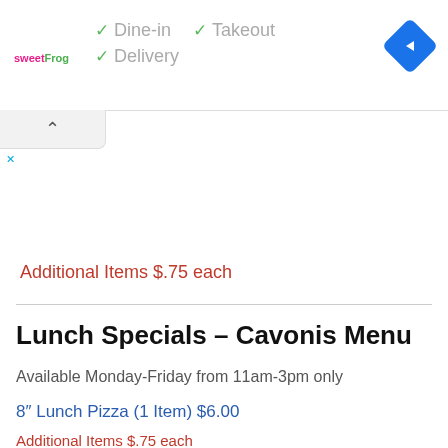Dine-in  Takeout  Delivery
Additional Items $.75 each
Lunch Specials – Cavonis Menu
Available Monday-Friday from 11am-3pm only
8" Lunch Pizza (1 Item) $6.00
Additional Items $.75 each
Half Grinder, Tossed Salad, Soft drink or Coffee $9.25